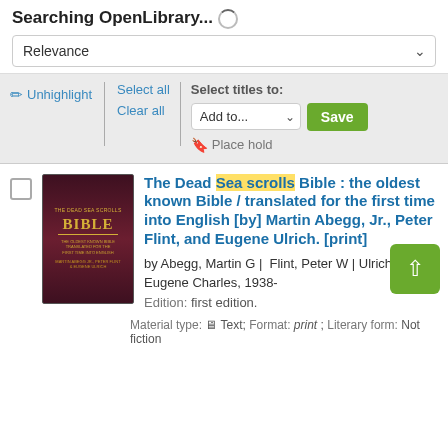Searching OpenLibrary...
Relevance
Unhighlight | Select titles to: Select all Add to... Save Clear all Place hold
[Figure (screenshot): Book cover for The Dead Sea Scrolls Bible, dark red/maroon cover with gold text]
The Dead Sea scrolls Bible : the oldest known Bible / translated for the first time into English [by] Martin Abegg, Jr., Peter Flint, and Eugene Ulrich. [print]
by Abegg, Martin G | Flint, Peter W | Ulrich, Eugene Charles, 1938-
Edition: first edition.
Material type: Text; Format: print ; Literary form: Not fiction